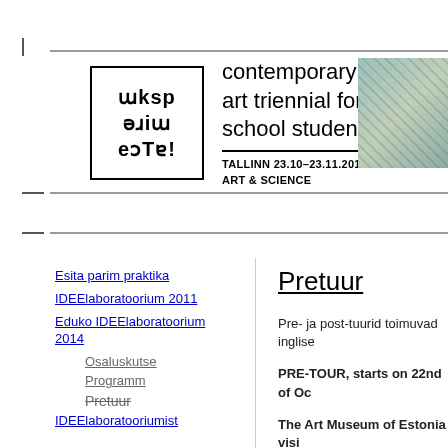[Figure (logo): Eksperimenta logo box with mirrored/rotated text and tagline 'contemporary art triennial for school students', date 'TALLINN 23.10-23.11.2014', 'ART & SCIENCE']
[Figure (photo): Partial photo of art installation with branches/sticks in top right corner]
Esita parim praktika
IDEElaboratoorium 2011
Eduko IDEElaboratoorium 2014
Osaluskutse
Programm
Pretuur
IDEElaboratooriumist
Pretuur
Pre- ja post-tuurid toimuvad inglise
PRE-TOUR, starts on 22nd of Oc
The Art Museum of Estonia visi
Kumu – The Art Museum of Est